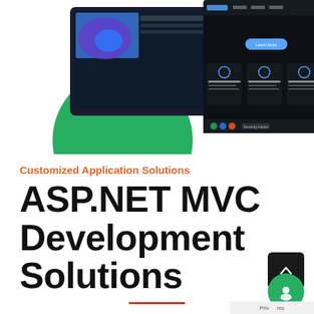[Figure (screenshot): Screenshot of a web application interface showing dark-themed website UI with colorful decorative circles (green and purple), laptop/device mockups displaying web pages with feature icons and text sections]
Customized Application Solutions
ASP.NET MVC Development Solutions
[Figure (other): Orange/red horizontal divider line]
[Figure (other): Dark back-to-top button with upward arrow and green chat bubble icon with privacy bar overlay]